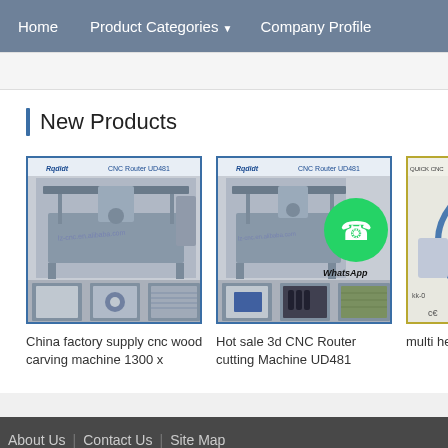Home | Product Categories | Company Profile
New Products
[Figure (photo): CNC Router UD481 machine product photo with multiple views — China factory supply cnc wood carving machine 1300 x]
China factory supply cnc wood carving machine 1300 x
[Figure (photo): CNC Router UD481 machine product photo with WhatsApp Online overlay — Hot sale 3d CNC Router cutting Machine UD481]
Hot sale 3d CNC Router cutting Machine UD481
[Figure (photo): QUICK CNC machine partial product photo — multi head machine (partial)]
multi he machin
About Us | Contact Us | Site Map